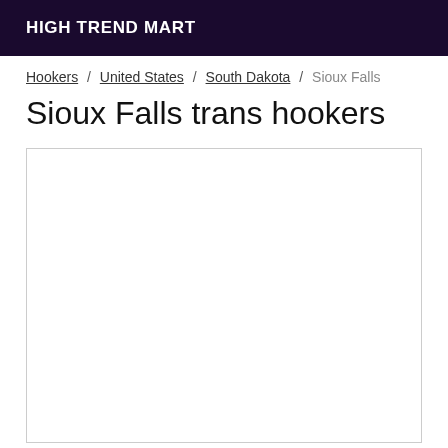HIGH TREND MART
Hookers / United States / South Dakota / Sioux Falls
Sioux Falls trans hookers
[Figure (other): Empty white content box with border]